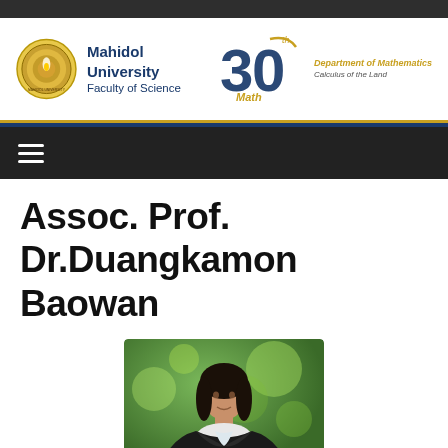Mahidol University Faculty of Science — Department of Mathematics
Assoc. Prof. Dr.Duangkamon Baowan
[Figure (photo): Portrait photo of Assoc. Prof. Dr.Duangkamon Baowan, a woman with dark shoulder-length hair wearing a black blazer, photographed outdoors with green bokeh background]